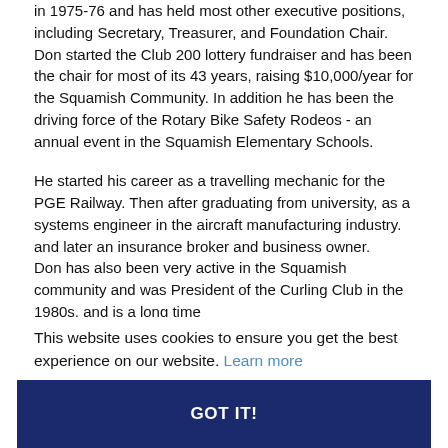in 1975-76 and has held most other executive positions, including Secretary, Treasurer, and Foundation Chair. Don started the Club 200 lottery fundraiser and has been the chair for most of its 43 years, raising $10,000/year for the Squamish Community. In addition he has been the driving force of the Rotary Bike Safety Rodeos - an annual event in the Squamish Elementary Schools.
He started his career as a travelling mechanic for the PGE Railway. Then after graduating from university, as a systems engineer in the aircraft manufacturing industry. and later an insurance broker and business owner. Don has also been very active in the Squamish community and was President of the Curling Club in the 1980s, and is a long time
This website uses cookies to ensure you get the best experience on our website. Learn more
GOT IT!